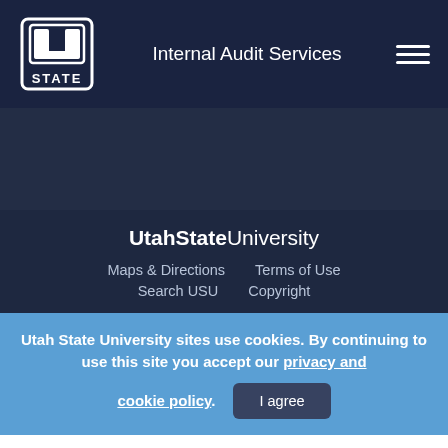Internal Audit Services
[Figure (logo): Utah State University USU block logo in white on dark navy background]
UtahState University
Maps & Directions    Terms of Use
Search USU    Copyright
Utah State University sites use cookies. By continuing to use this site you accept our privacy and cookie policy.